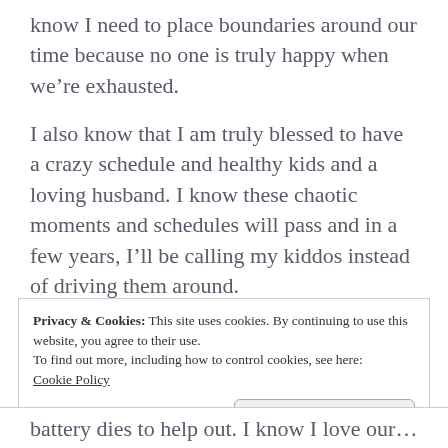know I need to place boundaries around our time because no one is truly happy when we're exhausted.
I also know that I am truly blessed to have a crazy schedule and healthy kids and a loving husband. I know these chaotic moments and schedules will pass and in a few years, I'll be calling my kiddos instead of driving them around.
Privacy & Cookies: This site uses cookies. By continuing to use this website, you agree to their use.
To find out more, including how to control cookies, see here: Cookie Policy
Close and accept
battery dies to help out. I know I love our little